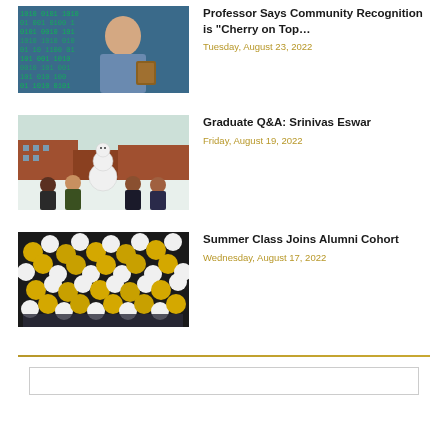[Figure (photo): Professor holding an award plaque, with binary code digital background in blue and green]
Professor Says Community Recognition is “Cherry on Top…
Tuesday, August 23, 2022
[Figure (photo): Group of students posing next to a snowman on a snowy campus]
Graduate Q&A: Srinivas Eswar
Friday, August 19, 2022
[Figure (photo): Crowd of people with yellow and white balloons at a graduation or alumni event]
Summer Class Joins Alumni Cohort
Wednesday, August 17, 2022